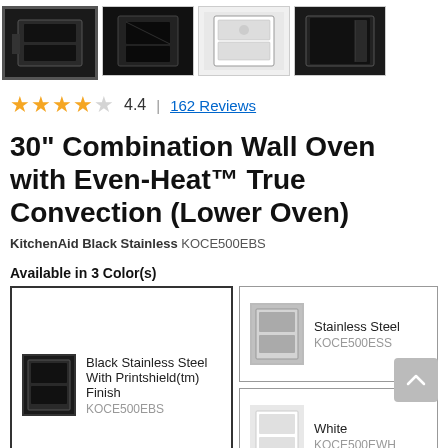[Figure (photo): Row of four product thumbnail images of combination wall ovens; first is selected with a darker border]
4.4 | 162 Reviews
30" Combination Wall Oven with Even-Heat™ True Convection (Lower Oven)
KitchenAid Black Stainless KOCE500EBS
Available in 3 Color(s)
[Figure (photo): Color option card: Black Stainless Steel With Printshield(tm) Finish, KOCE500EBS — selected]
[Figure (photo): Color option card: Stainless Steel, KOCE500ESS]
[Figure (photo): Color option card: White, KOCE500EWH]
Features